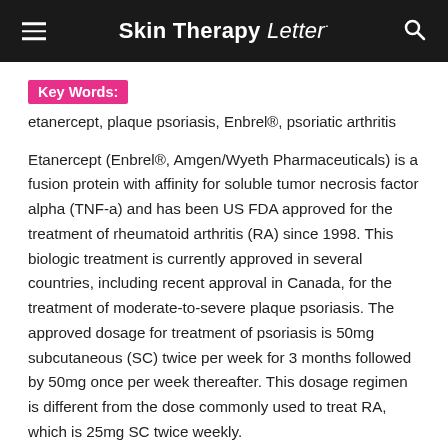Skin Therapy Letter
Key Words:
etanercept, plaque psoriasis, Enbrel®, psoriatic arthritis
Etanercept (Enbrel®, Amgen/Wyeth Pharmaceuticals) is a fusion protein with affinity for soluble tumor necrosis factor alpha (TNF-a) and has been US FDA approved for the treatment of rheumatoid arthritis (RA) since 1998. This biologic treatment is currently approved in several countries, including recent approval in Canada, for the treatment of moderate-to-severe plaque psoriasis. The approved dosage for treatment of psoriasis is 50mg subcutaneous (SC) twice per week for 3 months followed by 50mg once per week thereafter. This dosage regimen is different from the dose commonly used to treat RA, which is 25mg SC twice weekly.